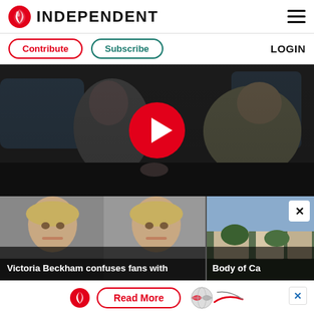INDEPENDENT
Contribute  Subscribe  LOGIN
[Figure (screenshot): Video thumbnail showing two men in a vehicle interior with a large red play button overlay in the center]
[Figure (photo): Thumbnail image of a blonde woman (appears twice side by side) with article title 'Victoria Beckham confuses fans with']
[Figure (photo): Thumbnail image showing a hillside with buildings and article title 'Body of Ca' with a close button]
[Figure (other): Advertisement bar at bottom with Independent eagle logo, Read More button, globe graphic, and blue X close button]